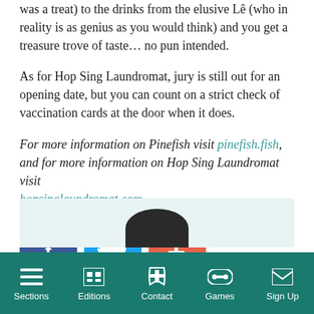was a treat) to the drinks from the elusive Lê (who in reality is as genius as you would think) and you get a treasure trove of taste… no pun intended.
As for Hop Sing Laundromat, jury is still out for an opening date, but you can count on a strict check of vaccination cards at the door when it does.
For more information on Pinefish visit pinefish.fish, and for more information on Hop Sing Laundromat visit hopsinglaundromat.com
[Figure (other): Social sharing buttons: Facebook (blue square with f), Twitter (light blue square with bird icon), and a red-orange square with plus sign]
[Figure (photo): Partial view of a person's head/avatar against a light teal background, only the top portion visible]
Sections | Editions | Contact | Games | Sign Up